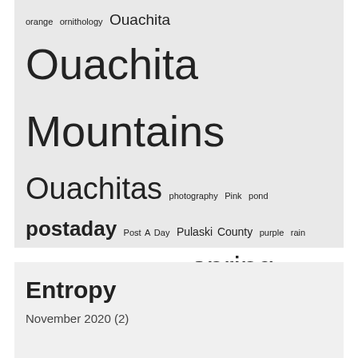orange ornithology Ouachita Ouachita Mountains Ouachitas photography Pink pond postaday Post A Day Pulaski County purple rain Red silhouette snakes snow spring sumac Summer sunrise Sunset sunshine trees UALR University District University of Arkansas at Little Rock Water weather Weekly Photo challenge weekly wordpress photo challenge white wildflowers wildlife wildlife photography winter Wordpress Wordpress postaday wordpress weekly photo challenge yellow
Entropy
November 2020 (2)